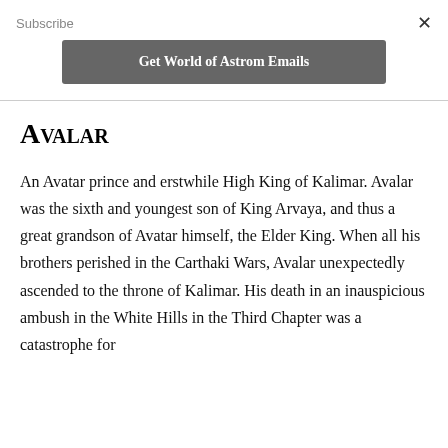Subscribe
Get World of Astrom Emails
Avalar
An Avatar prince and erstwhile High King of Kalimar. Avalar was the sixth and youngest son of King Arvaya, and thus a great grandson of Avatar himself, the Elder King. When all his brothers perished in the Carthaki Wars, Avalar unexpectedly ascended to the throne of Kalimar. His death in an inauspicious ambush in the White Hills in the Third Chapter was a catastrophe for